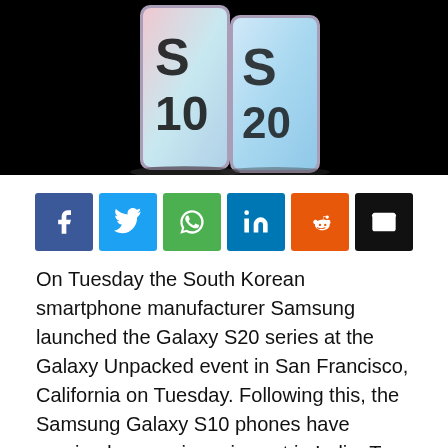[Figure (photo): Samsung Galaxy S10 smartphones displayed against a black background, showing the S10 branding on screen, two phones side by side.]
[Figure (infographic): Social media share buttons: Facebook (blue), Twitter (light blue), WhatsApp (green), LinkedIn (blue), Reddit (orange), Email (black)]
On Tuesday the South Korean smartphone manufacturer Samsung launched the Galaxy S20 series at the Galaxy Unpacked event in San Francisco, California on Tuesday. Following this, the Samsung Galaxy S10 phones have received a massive price cut in India. To recall the S10 series was launched in the country last year in 2019.